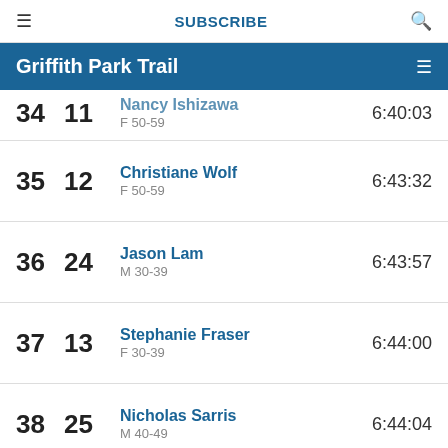≡   SUBSCRIBE   🔍
Griffith Park Trail
| Overall | Gender | Name / Category | Time |
| --- | --- | --- | --- |
| 34 | 11 | Nancy Ishizawa / F 50-59 | 6:40:03 |
| 35 | 12 | Christiane Wolf / F 50-59 | 6:43:32 |
| 36 | 24 | Jason Lam / M 30-39 | 6:43:57 |
| 37 | 13 | Stephanie Fraser / F 30-39 | 6:44:00 |
| 38 | 25 | Nicholas Sarris / M 40-49 | 6:44:04 |
| 39 | 26 | Jim Spadoni / M 60-69 | 6:46:53 |
| 40 | 27 | Trevor Wennberg / ... | ... |